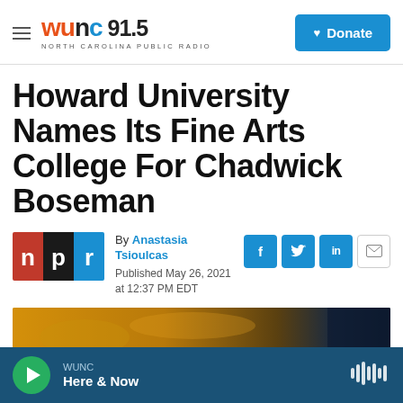WUNC 91.5 NORTH CAROLINA PUBLIC RADIO | Donate
Howard University Names Its Fine Arts College For Chadwick Boseman
By Anastasia Tsioulcas
Published May 26, 2021 at 12:37 PM EDT
[Figure (photo): NPR logo (red, black, blue squares with letters n, p, r) next to social share icons (Facebook, Twitter, LinkedIn, Email)]
[Figure (photo): Partial image of a performance or fine arts scene with warm golden tones]
WUNC | Here & Now (audio player bar)